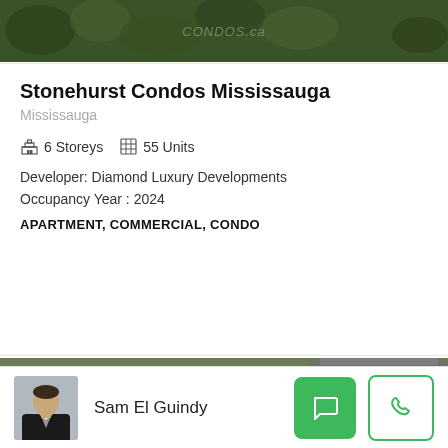[Figure (photo): Aerial photo of greenery/trees with subtle watermark text overlay]
Stonehurst Condos Mississauga
Mississauga
6 Storeys   55 Units
Developer: Diamond Luxury Developments
Occupancy Year : 2024
APARTMENT, COMMERCIAL, CONDO
[Figure (photo): Architectural rendering of tall glass condo towers with SELLING badge in top right corner]
Sam El Guindy